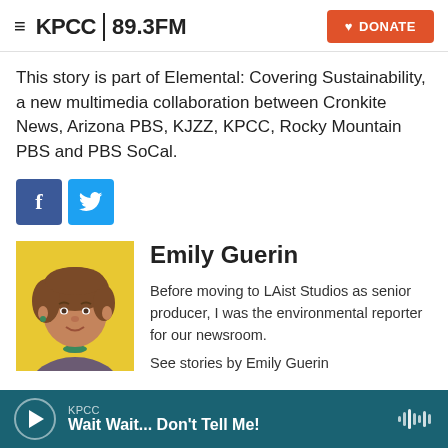KPCC 89.3FM | DONATE
This story is part of Elemental: Covering Sustainability, a new multimedia collaboration between Cronkite News, Arizona PBS, KJZZ, KPCC, Rocky Mountain PBS and PBS SoCal.
[Figure (other): Facebook and Twitter share buttons]
[Figure (photo): Headshot photo of Emily Guerin against yellow background]
Emily Guerin
Before moving to LAist Studios as senior producer, I was the environmental reporter for our newsroom.
See stories by Emily Guerin
KPCC | Wait Wait... Don't Tell Me!